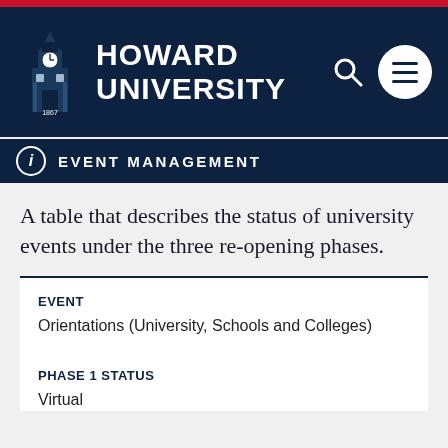Howard University
EVENT MANAGEMENT
A table that describes the status of university events under the three re-opening phases.
| EVENT | PHASE 1 STATUS |
| --- | --- |
| Orientations (University, Schools and Colleges) | Virtual |